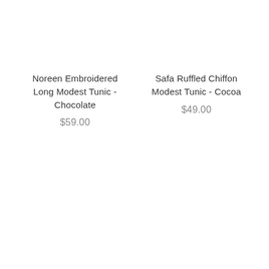Noreen Embroidered Long Modest Tunic - Chocolate
$59.00
Safa Ruffled Chiffon Modest Tunic - Cocoa
$49.00